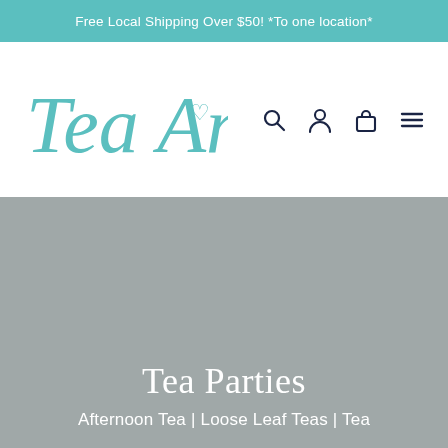Free Local Shipping Over $50! *To one location*
[Figure (logo): Tea Amo cursive logo in teal/turquoise color with a small heart]
[Figure (other): Navigation icons: search (magnifying glass), account (person silhouette), cart (bag), menu (hamburger lines) in dark navy color]
Tea Parties
Afternoon Tea | Loose Leaf Teas | Tea